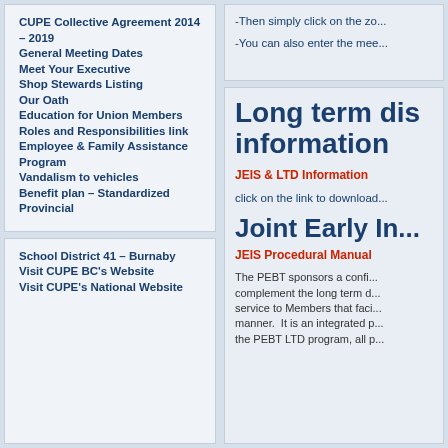CUPE Collective Agreement 2014 – 2019
General Meeting Dates
Meet Your Executive
Shop Stewards Listing
Our Oath
Education for Union Members
Roles and Responsibilities link
Employee & Family Assistance Program
Vandalism to vehicles
Benefit plan – Standardized Provincial
School District 41 – Burnaby
Visit CUPE BC's Website
Visit CUPE's National Website
-Then simply click on the zo...
-You can also enter the mee...
Long term dis... information
JEIS & LTD Information
click on the link to download...
Joint Early In...
JEIS Procedural Manual
The PEBT sponsors a confi... complement the long term d... service to Members that faci... manner. It is an integrated p... the PEBT LTD program, all p...